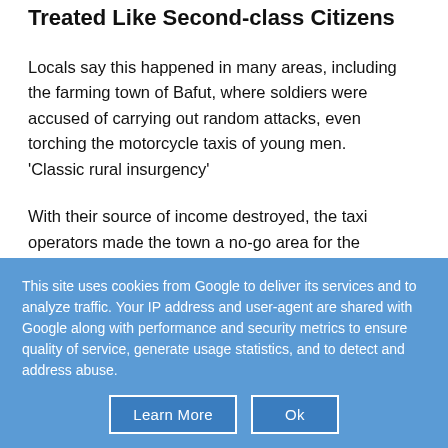Treated Like Second-class Citizens
Locals say this happened in many areas, including the farming town of Bafut, where soldiers were accused of carrying out random attacks, even torching the motorcycle taxis of young men.
'Classic rural insurgency'
With their source of income destroyed, the taxi operators made the town a no-go area for the government by forming the Seven Karta militia -
This site uses cookies from Google to deliver its services and to analyze traffic. Your IP address and user-agent are shared with Google along with performance and security metrics to ensure quality of service, generate usage statistics, and to detect and address abuse.
Learn More
Ok